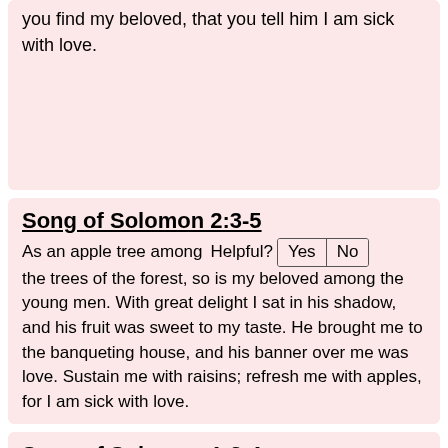you find my beloved, that you tell him I am sick with love.
Song of Solomon 2:3-5
As an apple tree among the trees of the forest, so is my beloved among the young men. With great delight I sat in his shadow, and his fruit was sweet to my taste. He brought me to the banqueting house, and his banner over me was love. Sustain me with raisins; refresh me with apples, for I am sick with love.
Song of Solomon 1:2-4
Let him kiss me with the kisses of his mouth! For your love is better